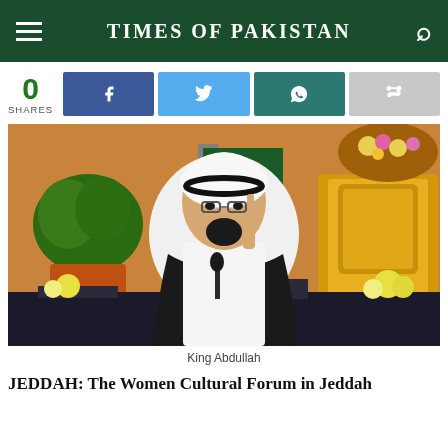TIMES OF PAKISTAN
0 SHARES
[Figure (photo): King Abdullah seated at a conference table, wearing white thobe and black bisht, raising one finger, with a Saudi flag and floral decorations in the background]
King Abdullah
JEDDAH: The Women Cultural Forum in Jeddah